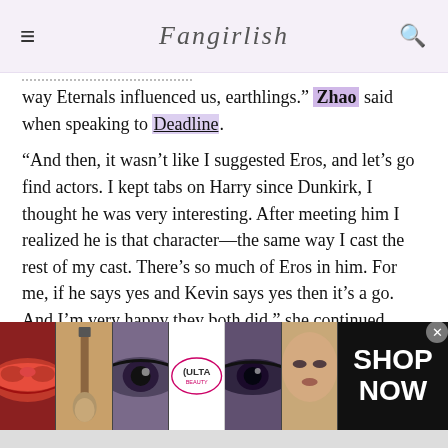Fangirlish
way Eternals influenced us, earthlings." Zhao said when speaking to Deadline.
“And then, it wasn’t like I suggested Eros, and let’s go find actors. I kept tabs on Harry since Dunkirk, I thought he was very interesting. After meeting him I realized he is that character—the same way I cast the rest of my cast. There’s so much of Eros in him. For me, if he says yes and Kevin says yes then it’s a go. And I’m very happy they both did.” she continued.
Chloe, we’re applauding your gut instinct and
[Figure (screenshot): Advertisement banner for Ulta Beauty showing makeup product images (lips, brush, eyes) with SHOP NOW text]